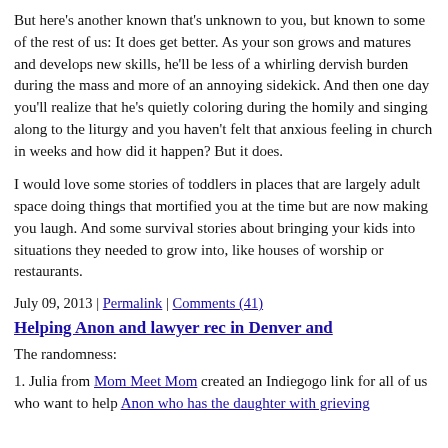But here's another known that's unknown to you, but known to some of the rest of us: It does get better. As your son grows and matures and develops new skills, he'll be less of a whirling dervish burden during the mass and more of an annoying sidekick. And then one day you'll realize that he's quietly coloring during the homily and singing along to the liturgy and you haven't felt that anxious feeling in church in weeks and how did it happen? But it does.
I would love some stories of toddlers in places that are largely adult space doing things that mortified you at the time but are now making you laugh. And some survival stories about bringing your kids into situations they needed to grow into, like houses of worship or restaurants.
July 09, 2013 | Permalink | Comments (41)
Helping Anon and lawyer rec in Denver and
The randomness:
1. Julia from Mom Meet Mom created an Indiegogo link for all of us who want to help Anon who has the daughter with grieving